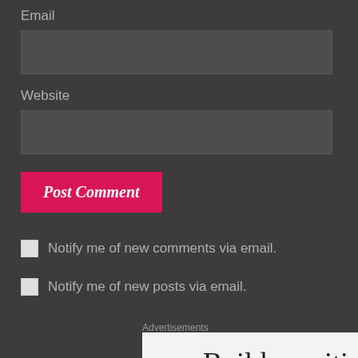Email
[Figure (other): Email input text field (empty, dark background)]
Website
[Figure (other): Website input text field (empty, dark background)]
Post Comment
Notify me of new comments via email.
Notify me of new posts via email.
Advertisements
Build a writing